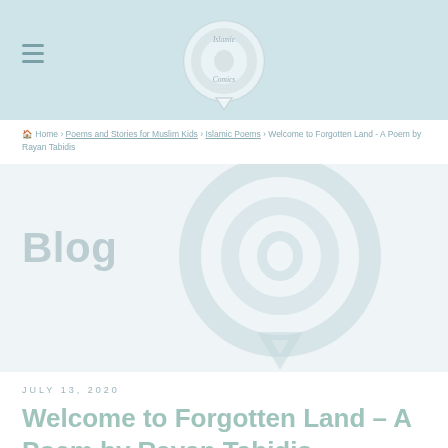Islamic Comics [logo]
Home › Poems and Stories for Muslim Kids › Islamic Poems › Welcome to Forgotten Land - A Poem by Rayan Tabidis
Blog
July 13, 2020
Welcome to Forgotten Land – A Poem by Rayan Tabidis